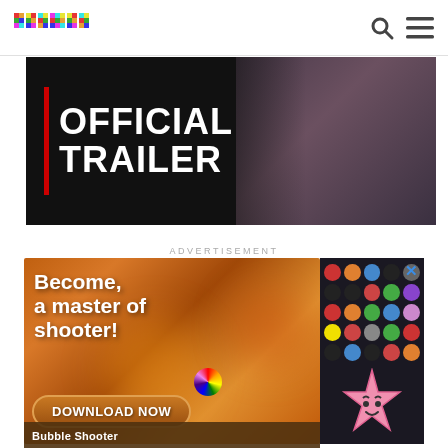[Figure (screenshot): Primer website header with colorful pixel-art logo on the left and search/menu icons on the right]
[Figure (screenshot): Movie trailer thumbnail showing OFFICIAL TRAILER text with red vertical bar on dark background, person visible on right]
ADVERTISEMENT
[Figure (infographic): Mobile game advertisement for Bubble Shooter - 'Become a master of shooter!' with colorful bubble icons and DOWNLOAD NOW button. Bottom label reads 'Bubble Shooter']